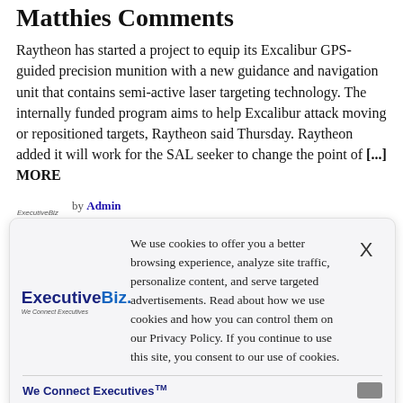Matthies Comments
Raytheon has started a project to equip its Excalibur GPS-guided precision munition with a new guidance and navigation unit that contains semi-active laser targeting technology. The internally funded program aims to help Excalibur attack moving or repositioned targets, Raytheon said Thursday. Raytheon added it will work for the SAL seeker to change the point of [...] MORE
by Admin
June 21, 2013, 8:34 am
We use cookies to offer you a better browsing experience, analyze site traffic, personalize content, and serve targeted advertisements. Read about how we use cookies and how you can control them on our Privacy Policy. If you continue to use this site, you consent to our use of cookies.
We Connect Executives ™